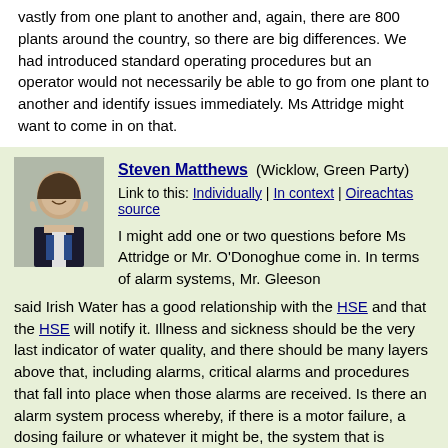vastly from one plant to another and, again, there are 800 plants around the country, so there are big differences. We had introduced standard operating procedures but an operator would not necessarily be able to go from one plant to another and identify issues immediately. Ms Attridge might want to come in on that.
Steven Matthews (Wicklow, Green Party)
Link to this: Individually | In context | Oireachtas source
I might add one or two questions before Ms Attridge or Mr. O'Donoghue come in. In terms of alarm systems, Mr. Gleeson said Irish Water has a good relationship with the HSE and that the HSE will notify it. Illness and sickness should be the very last indicator of water quality, and there should be many layers above that, including alarms, critical alarms and procedures that fall into place when those alarms are received. Is there an alarm system process whereby, if there is a motor failure, a dosing failure or whatever it might be, the system that is monitored and there are reaction times to deal with those alarms? I am interested in how a failure can happen but nobody seems able to react quickly enough, or has reacted quickly to it but has not passed it along.
Mr. Niall Gleeson:
It is a very good question. To clarify, the question on the HSE was whether we are in contact with it. We certainly do not rely on the HSE to